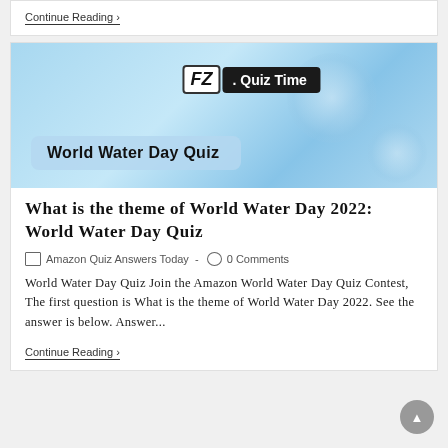Continue Reading ›
[Figure (illustration): World Water Day Quiz banner with light blue gradient background, FZ Quiz Time logo badge at top center, and 'World Water Day Quiz' text in a semi-transparent blue-gray rounded box at bottom left]
What is the theme of World Water Day 2022: World Water Day Quiz
Amazon Quiz Answers Today - 0 Comments
World Water Day Quiz Join the Amazon World Water Day Quiz Contest, The first question is What is the theme of World Water Day 2022. See the answer is below. Answer...
Continue Reading ›